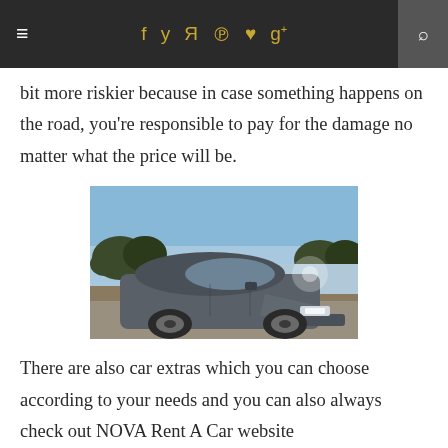≡  f  𝕿  ☷  ⊕  ♥  g+  🔍
bit more riskier because in case something happens on the road, you're responsible to pay for the damage no matter what the price will be.
[Figure (photo): A gray Audi sedan photographed outdoors on a road with trees and blue sky in the background, sunlight glaring from the front.]
There are also car extras which you can choose according to your needs and you can also always check out NOVA Rent A Car website